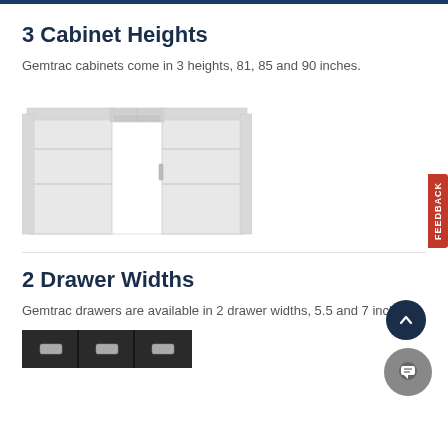3 Cabinet Heights
Gemtrac cabinets come in 3 heights, 81, 85 and 90 inches.
[Figure (photo): Two light grey storage cabinets positioned side by side forming a U-shape with an open passage in the middle, showing multiple drawer units stacked vertically.]
2 Drawer Widths
Gemtrac drawers are available in 2 drawer widths, 5.5 and 7 inches.
[Figure (photo): Close-up of drawer pulls/handles on dark cabinet drawers.]